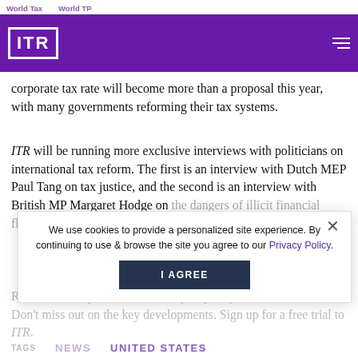World Tax   World TP
[Figure (logo): ITR logo in white on purple navigation bar with hamburger menu icon]
corporate tax rate will become more than a proposal this year, with many governments reforming their tax systems.
ITR will be running more exclusive interviews with politicians on international tax reform. The first is an interview with Dutch MEP Paul Tang on tax justice, and the second is an interview with British MP Margaret Hodge on the dangers of illicit financial flows.
Readers can expect the availability of plenty more next week. Don't miss out on the key developments. Sign up for a free trial to ITR.
We use cookies to provide a personalized site experience. By continuing to use & browse the site you agree to our Privacy Policy.
TAGS   NEWS   UNITED STATES